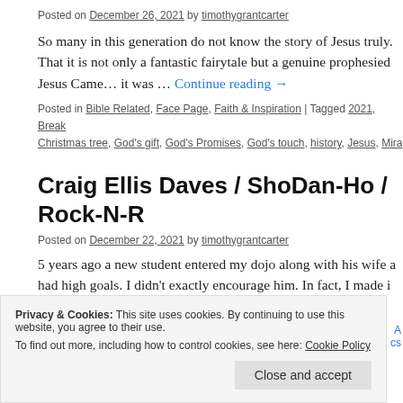Posted on December 26, 2021 by timothygrantcarter
So many in this generation do not know the story of Jesus truly. That it is not only a fantastic fairytale but a genuine prophesied Jesus Came… it was … Continue reading →
Posted in Bible Related, Face Page, Faith & Inspiration | Tagged 2021, Break, Christmas tree, God's gift, God's Promises, God's touch, history, Jesus, Mira
Craig Ellis Daves / ShoDan-Ho / Rock-N-R
Posted on December 22, 2021 by timothygrantcarter
5 years ago a new student entered my dojo along with his wife a had high goals. I didn't exactly encourage him. In fact, I made i
Privacy & Cookies: This site uses cookies. By continuing to use this website, you agree to their use. To find out more, including how to control cookies, see here: Cookie Policy